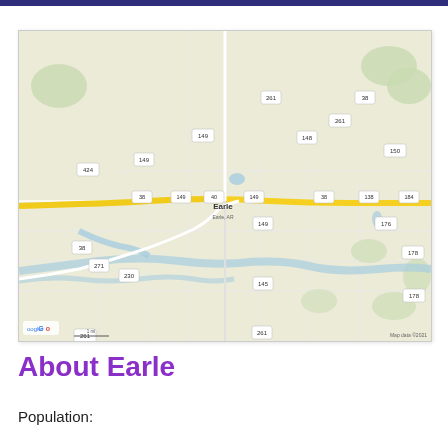[Figure (map): Google Maps aerial/road map view centered on Earle, Arkansas, showing surrounding road network including yellow highway routes, river, and labeled roads with route numbers. Google logo and map data 2021 attribution visible.]
About Earle
Population: